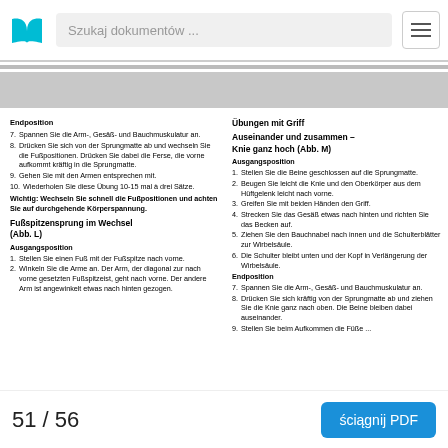Szukaj dokumentów ...
Endposition
7. Spannen Sie die Arm-, Gesäß- und Bauchmuskulatur an.
8. Drücken Sie sich von der Sprungmatte ab und wechseln Sie die Fußpositionen. Drücken Sie dabei die Ferse, die vorne aufkommt kräftig in die Sprungmatte.
9. Gehen Sie mit den Armen entsprechen mit.
10. Wiederholen Sie diese Übung 10-15 mal à drei Sätze.
Wichtig: Wechseln Sie schnell die Fußpositionen und achten Sie auf durchgehende Körperspannung.
Fußspitzensprung im Wechsel (Abb. L)
Ausgangsposition
1. Stellen Sie einen Fuß mit der Fußspitze nach vorne.
2. Winkeln Sie die Arme an. Der Arm, der diagonal zur nach vorne gesetzten Fußspitze ist, geht nach vorne. Der andere Arm ist angewinkelt etwas nach hinten gezogen.
Übungen mit Griff
Auseinander und zusammen – Knie ganz hoch (Abb. M)
Ausgangsposition
1. Stellen Sie die Beine geschlossen auf die Sprungmatte.
2. Beugen Sie leicht die Knie und den Oberkörper aus dem Hüftgelenk leicht nach vorne.
3. Greifen Sie mit beiden Händen den Griff.
4. Strecken Sie das Gesäß etwas nach hinten und richten Sie das Becken auf.
5. Ziehen Sie den Bauchnabel nach innen und die Schulterblätter zur Wirbelsäule.
6. Die Schulter bleibt unten und der Kopf in Verlängerung der Wirbelsäule.
Endposition
7. Spannen Sie die Arm-, Gesäß- und Bauchmuskulatur an.
8. Drücken Sie sich kräftig von der Sprungmatte ab und ziehen Sie die Knie ganz nach oben. Die Beine bleiben dabei auseinander.
9. Stellen Sie beim Aufkommen die Füße ...
51 / 56   ściągnij PDF